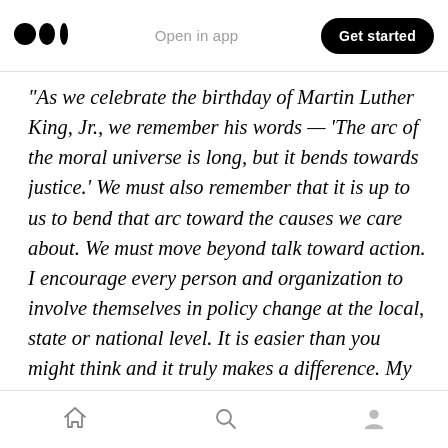Medium logo | Open in app | Get started
“As we celebrate the birthday of Martin Luther King, Jr., we remember his words — ‘The arc of the moral universe is long, but it bends towards justice.’ We must also remember that it is up to us to bend that arc toward the causes we care about. We must move beyond talk toward action. I encourage every person and organization to involve themselves in policy change at the local, state or national level. It is easier than you might think and it truly makes a difference. My recent blog post, 3 Steps to Integrate Advocacy into Your Nonprofit, shares ideas and tips
Home | Search | Profile